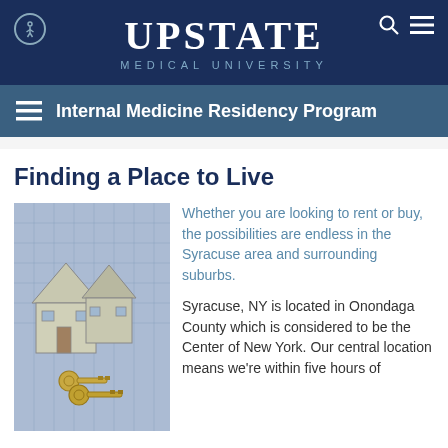UPSTATE MEDICAL UNIVERSITY
Internal Medicine Residency Program
Finding a Place to Live
[Figure (photo): Photo of a model house and keys on top of a map/blueprint, representing real estate and housing search.]
Whether you are looking to rent or buy, the possibilities are endless in the Syracuse area and surrounding suburbs.
Syracuse, NY is located in Onondaga County which is considered to be the Center of New York. Our central location means we're within five hours of